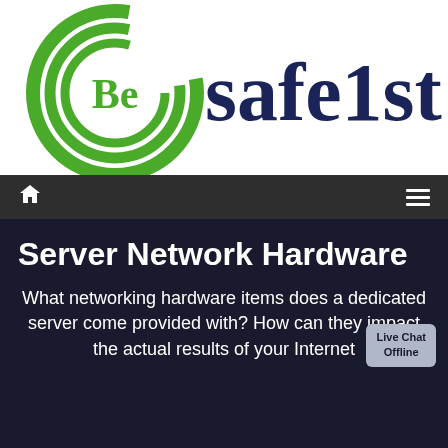[Figure (logo): BeSafe1st logo with green circular swirl graphic on left and dark navy 'Besafe1st' text on right]
Navigation bar with home icon and hamburger menu icon
Server Network Hardware
What networking hardware items does a dedicated server come provided with? How can they impact the actual results of your Internet
Live Chat Offline
Our website uses cookies. By continuing to browse our site you are agreeing to our usage of cookies. Find out more here.